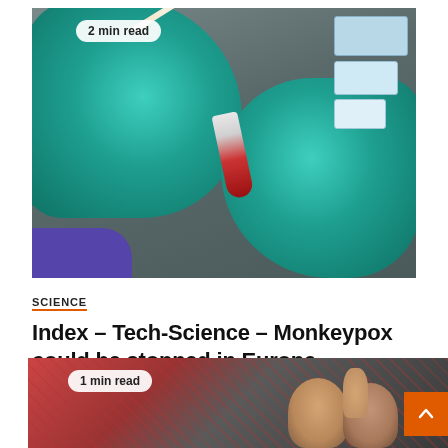[Figure (photo): Gloved hands in teal/green laboratory gloves holding a test tube and a swab in a laboratory setting. A badge reading '2 min read' is overlaid at the top left.]
2 min read
SCIENCE
Index – Tech-Science – Monkeypox could be stopped in Europe
August 30, 2022   Ellen Wilkinson
[Figure (photo): Crowd scene with people, partially visible. Badge reading '1 min read' overlaid at top left. Orange scroll-to-top button at bottom right.]
1 min read